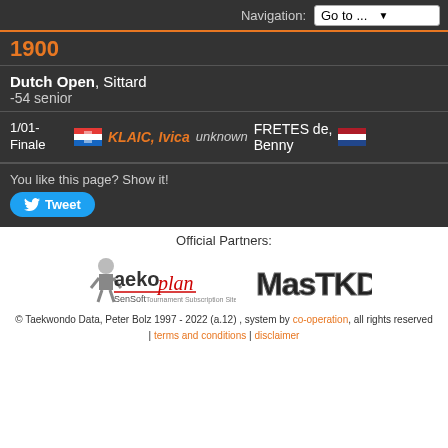Navigation: Go to ...
1900
Dutch Open, Sittard
-54 senior
| Round | Flag | Player 1 | Result | Player 2 | Flag |
| --- | --- | --- | --- | --- | --- |
| 1/01-Finale | [CRO flag] | KLAIC, Ivica | unknown | FRETES de, Benny | [NED flag] |
You like this page? Show it!
Tweet
Official Partners:
[Figure (logo): aekoplan SenSoft Tournament Subscription Site logo]
[Figure (logo): MasTKD logo]
© Taekwondo Data, Peter Bolz 1997 - 2022 (a.12) , system by co-operation, all rights reserved | terms and conditions | disclaimer